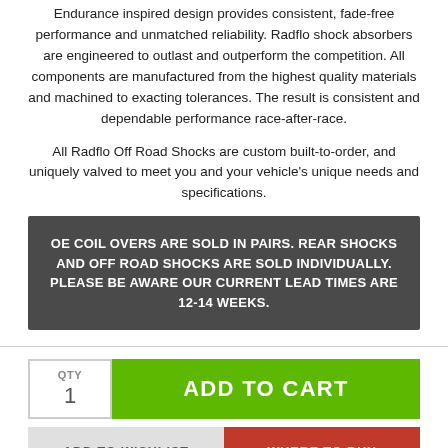Endurance inspired design provides consistent, fade-free performance and unmatched reliability. Radflo shock absorbers are engineered to outlast and outperform the competition. All components are manufactured from the highest quality materials and machined to exacting tolerances. The result is consistent and dependable performance race-after-race.
All Radflo Off Road Shocks are custom built-to-order, and uniquely valved to meet you and your vehicle's unique needs and specifications.
OE COIL OVERS ARE SOLD IN PAIRS. REAR SHOCKS AND OFF ROAD SHOCKS ARE SOLD INDIVIDUALLY. PLEASE BE AWARE OUR CURRENT LEAD TIMES ARE 12-14 WEEKS.
QTY
1
ADD TO CART
ADD TO WISHLIST
WHERE TO BUY